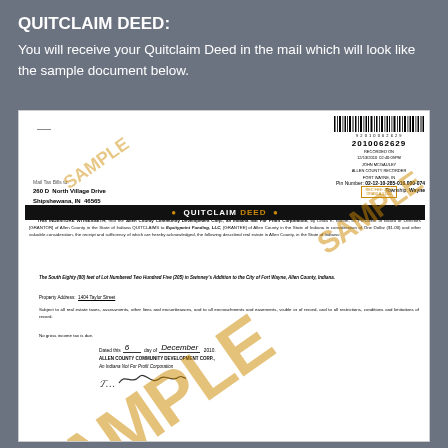QUITCLAIM DEED:
You will receive your Quitclaim Deed in the mail which will look like the sample document below.
[Figure (illustration): Sample Quitclaim Deed document image with SAMPLE watermark overlay. Document shows barcode, recording number 2010062629, recorded on 12/13/2010, John McGauley Allen County Recorder Fort Wayne IN. Mail Tax Bills to: 260 D North Village Drive Shipshewana, IN 46565. Pin Number: 02-12-10-285-016.000-074, Township: Wayne. QUITCLAIM DEED header. Legal text indenture. Lot description. Property Address: 1404 Taylor Street. Dated the 6 day of December 2010. Allen County Community Development Corp., An Indiana Not For Profit Corporation.]